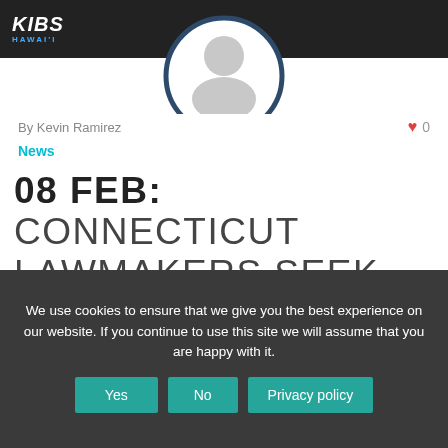[Figure (logo): KIIS Hawaii radio station logo on dark top bar, with partial circular profile image below]
By Kevin Ramirez
♥ 0
News
08 FEB: CONNECTICUT LAWMAKERS SEEK WHOLESALE BAN ON MENTHOL CIGARETTES
We use cookies to ensure that we give you the best experience on our website. If you continue to use this site we will assume that you are happy with it.
Yes | No | Privacy policy